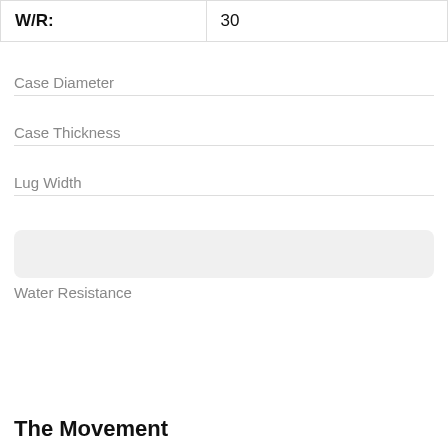| W/R: | 30 |
| --- | --- |
Case Diameter
Case Thickness
Lug Width
Water Resistance
The Movement